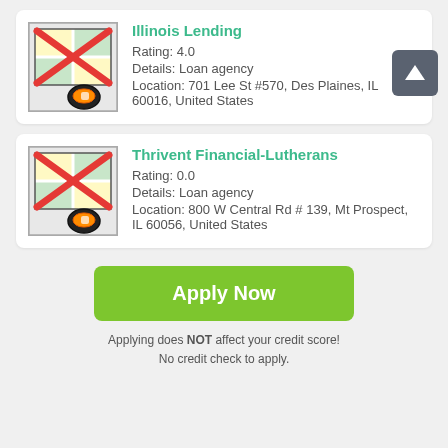[Figure (screenshot): Card listing for Illinois Lending with a map icon crossed out in red, showing rating, details, and location.]
Illinois Lending
Rating: 4.0
Details: Loan agency
Location: 701 Lee St #570, Des Plaines, IL 60016, United States
[Figure (screenshot): Card listing for Thrivent Financial-Lutherans with a map icon crossed out in red, showing rating, details, and location.]
Thrivent Financial-Lutherans
Rating: 0.0
Details: Loan agency
Location: 800 W Central Rd # 139, Mt Prospect, IL 60056, United States
Apply Now
Applying does NOT affect your credit score!
No credit check to apply.